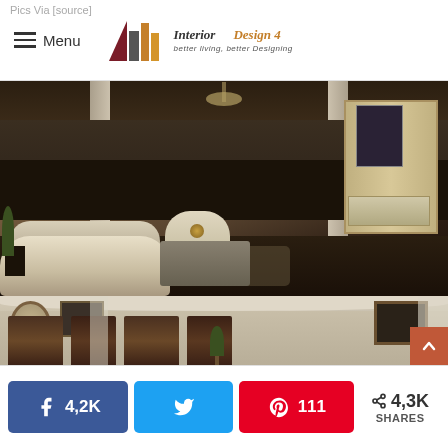Pics Via [source]
[Figure (logo): Interior Design 4 logo with geometric M shape icon in dark red and gold, tagline: better living, better Designing]
[Figure (photo): Luxury living room with white/cream tufted sofas, dark hardwood floors, chandelier, curtains, TV unit with glass cabinets and decorative gold accents]
[Figure (photo): Elegant room interior with arched ceiling detail, oval mirror, framed wall art, dark brown curtain drapes on multiple windows, and indoor plant]
4,2K
111
4,3K SHARES